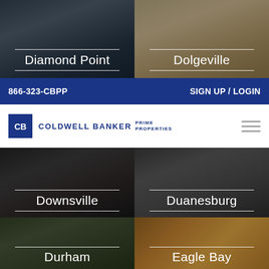[Figure (photo): Real estate property image for Diamond Point with dark overlay]
[Figure (photo): Real estate property image for Dolgeville with dark overlay]
866-323-CBPP   SIGN UP / LOGIN
[Figure (logo): Coldwell Banker Prime Properties logo]
[Figure (photo): Real estate property image for Downsville with dark overlay]
[Figure (photo): Real estate property image for Duanesburg with dark overlay]
[Figure (photo): Real estate property image for Durham with dark overlay]
[Figure (photo): Real estate property image for Eagle Bay with dark overlay]